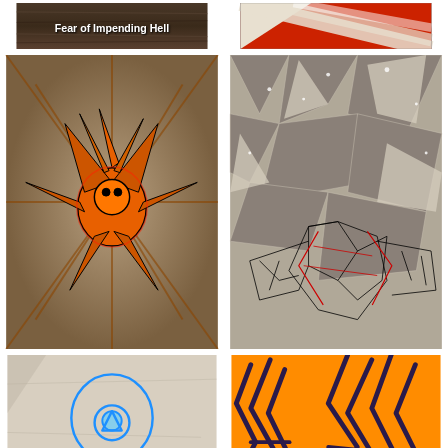[Figure (illustration): Dark wood-textured background with text 'Fear of Impending Hell' in white bold font]
[Figure (illustration): Abstract artwork with red and white diagonal shapes and lines]
[Figure (illustration): Orange and black tribal dragon/demon figure with radiating swirling lines on beige/brown background]
[Figure (illustration): Geometric angular shapes in grey and beige tones with a wireframe red/black dragon figure in the lower portion]
[Figure (illustration): Cartoon-like alien/robot figure in blue outline on crumpled paper background]
[Figure (illustration): Abstract dark purple zigzag lines on orange background]